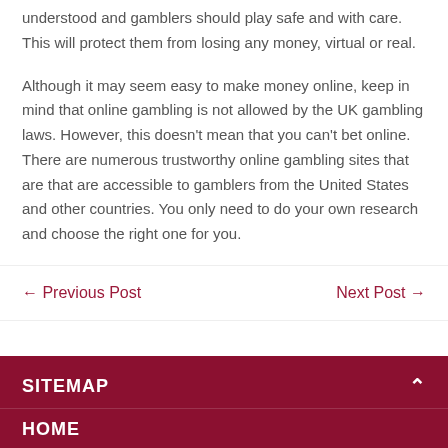understood and gamblers should play safe and with care. This will protect them from losing any money, virtual or real.
Although it may seem easy to make money online, keep in mind that online gambling is not allowed by the UK gambling laws. However, this doesn't mean that you can't bet online. There are numerous trustworthy online gambling sites that are that are accessible to gamblers from the United States and other countries. You only need to do your own research and choose the right one for you.
← Previous Post
Next Post →
SITEMAP
HOME